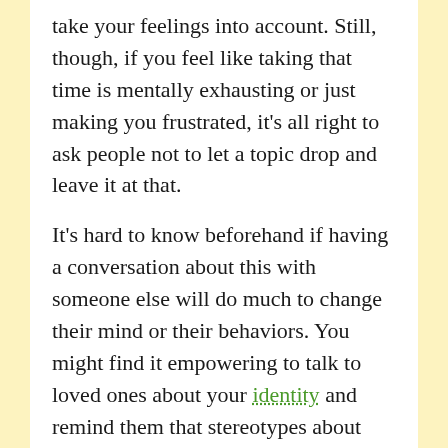take your feelings into account. Still, though, if you feel like taking that time is mentally exhausting or just making you frustrated, it's all right to ask people not to let a topic drop and leave it at that.
It's hard to know beforehand if having a conversation about this with someone else will do much to change their mind or their behaviors. You might find it empowering to talk to loved ones about your identity and remind them that stereotypes about bisexuals are often untrue and hurtful, or you may just get frustrated explaining and justifying a basic fact about yourself over and over again.
Ultimately, while you can ask people to be respectful and explain how their actions can hurt you or make you uncomfortable, you can't control